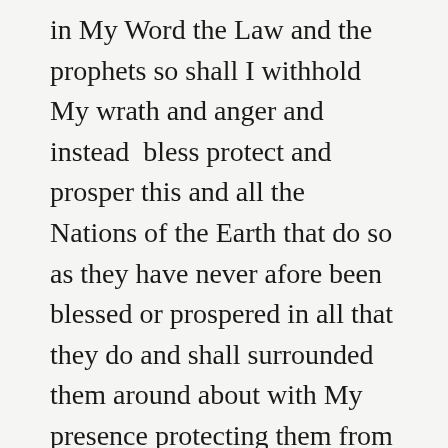in My Word the Law and the prophets so shall I withhold My wrath and anger and instead  bless protect and prosper this and all the Nations of the Earth that do so as they have never afore been blessed or prospered in all that they do and shall surrounded them around about with My presence protecting them from all of their enemies until My Judgment day dawns at the end of days but if not then so shall I as said with the full fury of My wrath and anger descend upon this Nation and the rest of the Nations of the Earth. Thus it is saith the Lord God where there is life there is hope and in